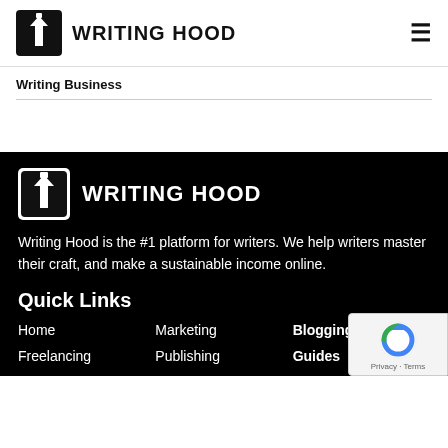WRITING HOOD
Writing Business
[Figure (logo): Writing Hood logo in footer - pen nib icon with WRITING HOOD text]
Writing Hood is the #1 platform for writers. We help writers master their craft, and make a sustainable income online.
Quick Links
Home
Marketing
Blogging
Freelancing
Publishing
Guides